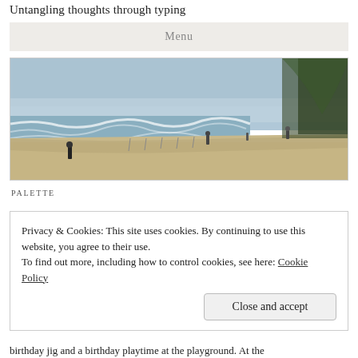Untangling thoughts through typing
Menu
[Figure (photo): A beach scene with waves, sandy shore, several people walking, and trees on the right side under a hazy sky.]
PALETTE
Privacy & Cookies: This site uses cookies. By continuing to use this website, you agree to their use.
To find out more, including how to control cookies, see here: Cookie Policy
Close and accept
birthday jig and a birthday playtime at the playground. At the